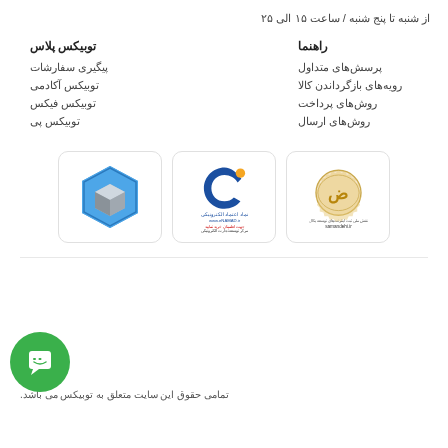از شنبه تا پنج شنبه / ساعت ۱۵ الی ۲۵
راهنما
پرسش‌های متداول
رویه‌های بازگرداندن کالا
روش‌های پرداخت
روش‌های ارسال
توبیکس پلاس
پیگیری سفارشات
توبیکس آکادمی
توبیکس فیکس
توبیکس پی
[Figure (logo): Toobiks hexagon logo - blue and grey hexagonal icon]
[Figure (logo): eNAMAD electronic trust badge logo]
[Figure (logo): Samandehi.ir national digital registration logo]
تمامی حقوق این سایت متعلق به توبیکس می باشد.